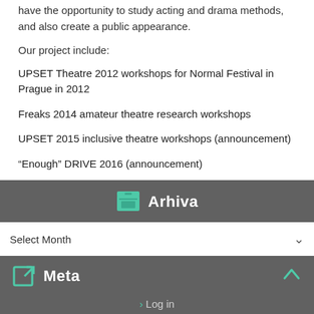have the opportunity to study acting and drama methods, and also create a public appearance.
Our project include:
UPSET Theatre 2012 workshops for Normal Festival in Prague in 2012
Freaks 2014 amateur theatre research workshops
UPSET 2015 inclusive theatre workshops (announcement)
“Enough” DRIVE 2016 (announcement)
Arhiva
Select Month
Meta
Log in